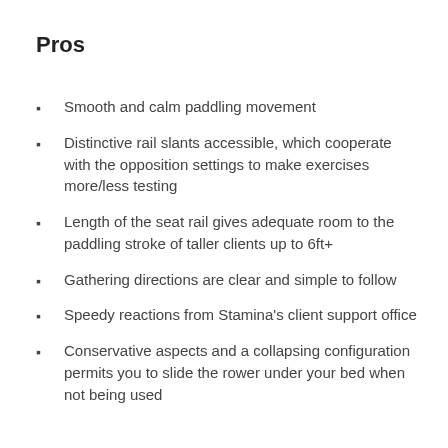Pros
Smooth and calm paddling movement
Distinctive rail slants accessible, which cooperate with the opposition settings to make exercises more/less testing
Length of the seat rail gives adequate room to the paddling stroke of taller clients up to 6ft+
Gathering directions are clear and simple to follow
Speedy reactions from Stamina's client support office
Conservative aspects and a collapsing configuration permits you to slide the rower under your bed when not being used